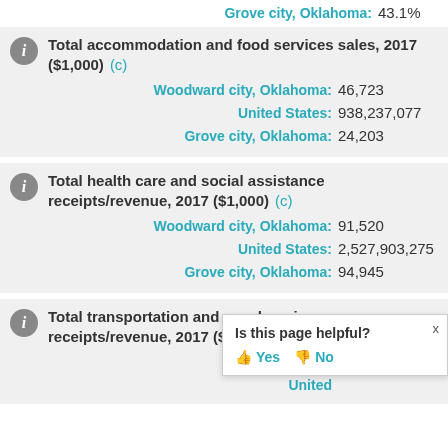Grove city, Oklahoma: 43.1%
Total accommodation and food services sales, 2017 ($1,000) (c)
Woodward city, Oklahoma: 46,723
United States: 938,237,077
Grove city, Oklahoma: 24,203
Total health care and social assistance receipts/revenue, 2017 ($1,000) (c)
Woodward city, Oklahoma: 91,520
United States: 2,527,903,275
Grove city, Oklahoma: 94,945
Total transportation and warehousing receipts/revenue, 2017 ($1,000) (c)
Woodward city, Oklahoma: (partial)
United States: (partial)
Is this page helpful? Yes No